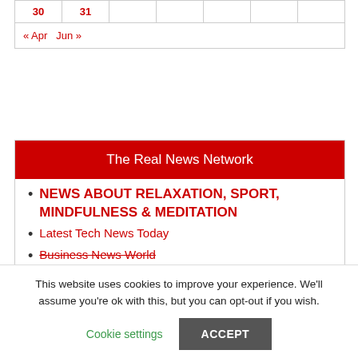| 30 | 31 |  |  |  |  |  |
« Apr   Jun »
The Real News Network
NEWS ABOUT RELAXATION, SPORT, MINDFULNESS & MEDITATION
Latest Tech News Today
Business News World
This website uses cookies to improve your experience. We'll assume you're ok with this, but you can opt-out if you wish.
Cookie settings   ACCEPT